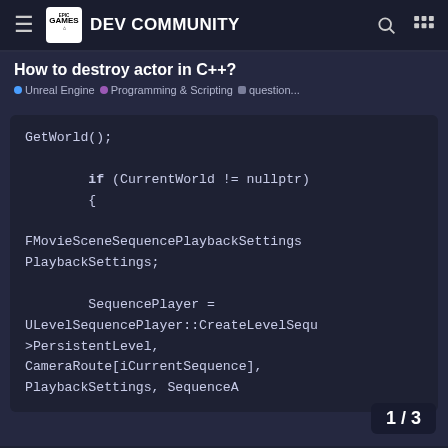Epic Games DEV COMMUNITY
How to destroy actor in C++?
Unreal Engine • Programming & Scripting • question...
GetWorld();

        if (CurrentWorld != nullptr)
        {

FMovieSceneSequencePlaybackSettings PlaybackSettings;

        SequencePlayer = ULevelSequencePlayer::CreateLevelSequ>PersistentLevel,
CameraRoute[iCurrentSequence],
PlaybackSettings, SequenceA
1 / 3